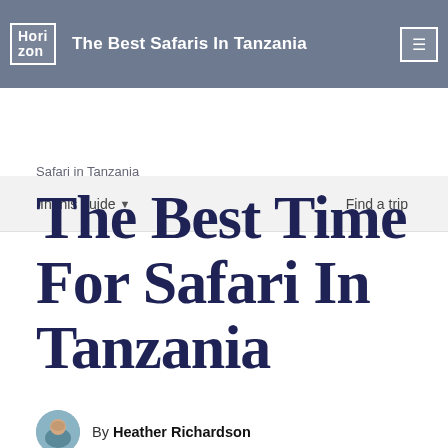Hori zon | The Best Safaris In Tanzania
In this guide ▼    Find a trip
Safari in Tanzania
The Best Time For Safari In Tanzania
By Heather Richardson